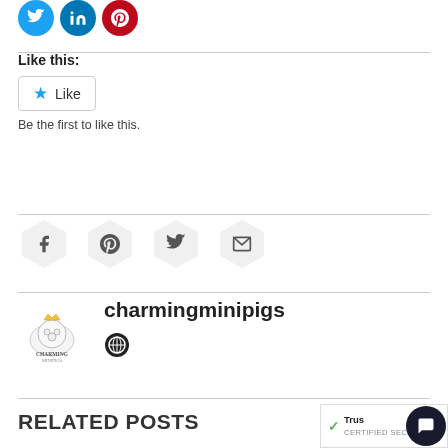[Figure (other): Three colored social share circles: Twitter (blue), LinkedIn (dark blue), Pinterest (red)]
Like this:
[Figure (other): Like button with star icon]
Be the first to like this.
[Figure (other): Social sharing icons in hexagonal buttons: Facebook, Pinterest, Twitter, Email]
[Figure (logo): Charming Mini Pigs logo with pig crown illustration and text]
charmingminipigs
[Figure (other): Globe/website icon]
RELATED POSTS
[Figure (other): TrustPilot certified secure badge and message bubble icon]